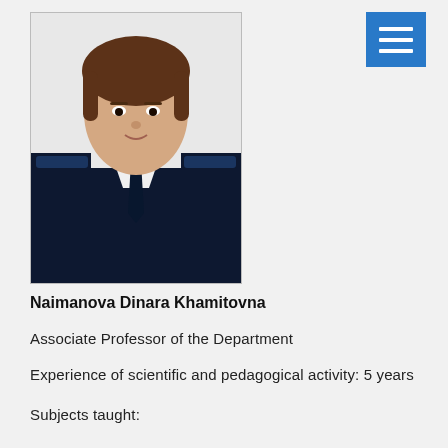[Figure (photo): Portrait photo of Naimanova Dinara Khamitovna in dark military-style uniform with epaulettes and tie, light background]
Naimanova Dinara Khamitovna
Associate Professor of the Department
Experience of scientific and pedagogical activity: 5 years
Subjects taught: